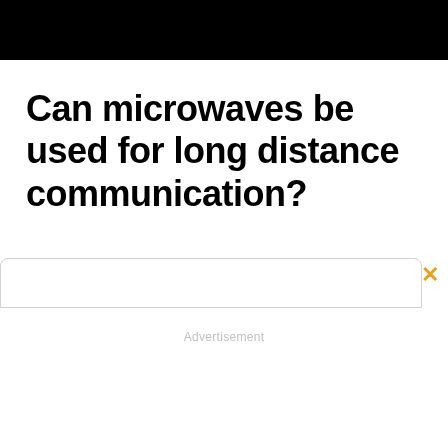[Figure (other): Black header bar at top of page]
Can microwaves be used for long distance communication?
Advertisement
[Figure (other): Advertisement box with close button (orange X)]